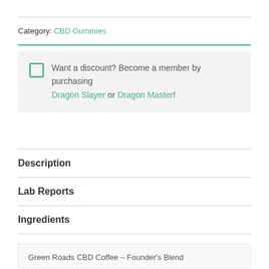Category: CBD Gummies
Want a discount? Become a member by purchasing Dragon Slayer or Dragon Master!
Description
Lab Reports
Ingredients
Reviews (2)
Green Roads CBD Coffee – Founder's Blend